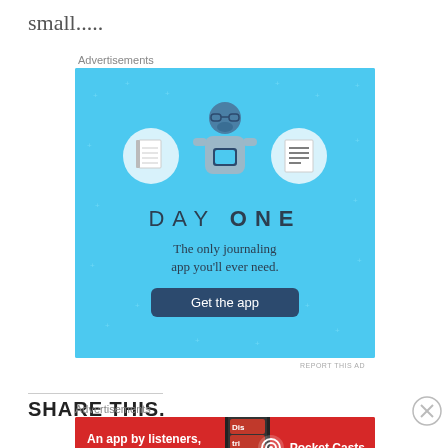small.....
Advertisements
[Figure (illustration): Day One journaling app advertisement on a light blue background. Shows a figure holding a phone with notebook icons on either side. Text reads: DAY ONE - The only journaling app you'll ever need. Get the app button.]
REPORT THIS AD
SHARE THIS.
Advertisements
[Figure (illustration): Pocket Casts app advertisement on a red background. Text: An app by listeners, for listeners. Pocket Casts logo with podcast icon. Phone image with app visible.]
REPORT THIS AD